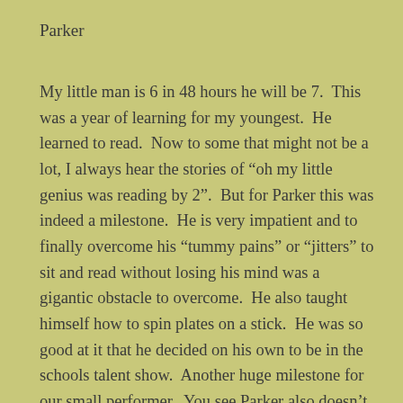Parker
My little man is 6 in 48 hours he will be 7.  This was a year of learning for my youngest.  He learned to read.  Now to some that might not be a lot, I always hear the stories of “oh my little genius was reading by 2”.  But for Parker this was indeed a milestone.  He is very impatient and to finally overcome his “tummy pains” or “jitters” to sit and read without losing his mind was a gigantic obstacle to overcome.  He also taught himself how to spin plates on a stick.  He was so good at it that he decided on his own to be in the schools talent show.  Another huge milestone for our small performer.  You see Parker also doesn’t like to be laughed at when doing something serious.  So for him to stand upon a stage in front of the entire elementary